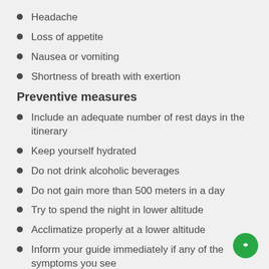Headache
Loss of appetite
Nausea or vomiting
Shortness of breath with exertion
Preventive measures
Include an adequate number of rest days in the itinerary
Keep yourself hydrated
Do not drink alcoholic beverages
Do not gain more than 500 meters in a day
Try to spend the night in lower altitude
Acclimatize properly at a lower altitude
Inform your guide immediately if any of the symptoms you see